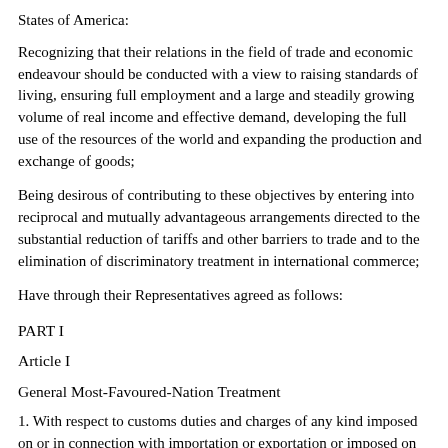States of America:
Recognizing that their relations in the field of trade and economic endeavour should be conducted with a view to raising standards of living, ensuring full employment and a large and steadily growing volume of real income and effective demand, developing the full use of the resources of the world and expanding the production and exchange of goods;
Being desirous of contributing to these objectives by entering into reciprocal and mutually advantageous arrangements directed to the substantial reduction of tariffs and other barriers to trade and to the elimination of discriminatory treatment in international commerce;
Have through their Representatives agreed as follows:
PART I
Article I
General Most-Favoured-Nation Treatment
1. With respect to customs duties and charges of any kind imposed on or in connection with importation or exportation or imposed on the international transfer of payments for imports or exports, and with respect to the method of levying such duties and charges, and